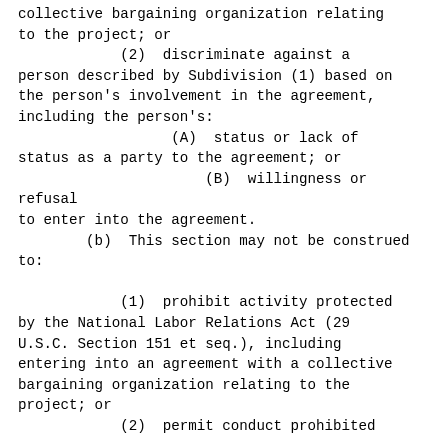collective bargaining organization relating to the project; or
(2)  discriminate against a person described by Subdivision (1) based on the person's involvement in the agreement, including the person's:
(A)  status or lack of status as a party to the agreement; or
(B)  willingness or refusal to enter into the agreement.
(b)  This section may not be construed to:
(1)  prohibit activity protected by the National Labor Relations Act (29 U.S.C. Section 151 et seq.), including entering into an agreement with a collective bargaining organization relating to the project; or
(2)  permit conduct prohibited